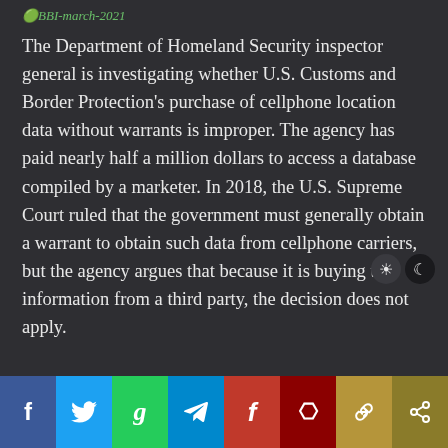BBI-march-2021
The Department of Homeland Security inspector general is investigating whether U.S. Customs and Border Protection's purchase of cellphone location data without warrants is improper. The agency has paid nearly half a million dollars to access a database compiled by a marketer. In 2018, the U.S. Supreme Court ruled that the government must generally obtain a warrant to obtain such data from cellphone carriers, but the agency argues that because it is buying the information from a third party, the decision does not apply.
Social sharing bar: Facebook, Twitter, Gab, Telegram, Flote, Parler, Link, Share